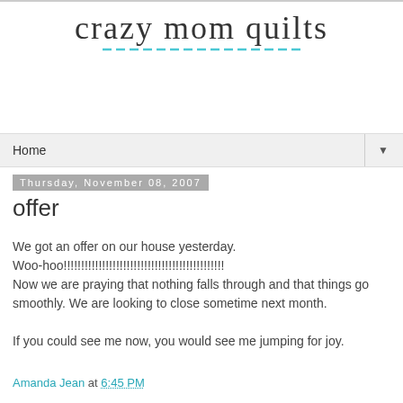crazy mom quilts
Home
Thursday, November 08, 2007
offer
We got an offer on our house yesterday. Woo-hoo!!!!!!!!!!!!!!!!!!!!!!!!!!!!!!!!!!!!!!!!!!!!!! Now we are praying that nothing falls through and that things go smoothly. We are looking to close sometime next month.

If you could see me now, you would see me jumping for joy.
Amanda Jean at 6:45 PM